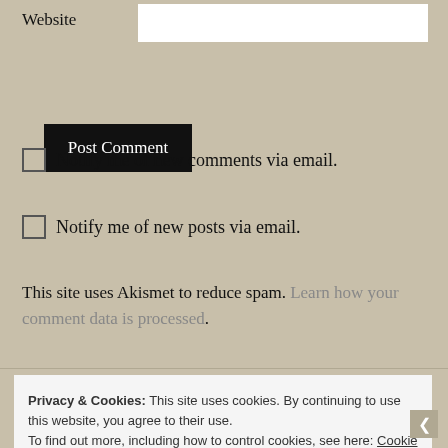Website
Post Comment
Notify me of new comments via email.
Notify me of new posts via email.
This site uses Akismet to reduce spam. Learn how your comment data is processed.
Privacy & Cookies: This site uses cookies. By continuing to use this website, you agree to their use.
To find out more, including how to control cookies, see here: Cookie Policy
Close and accept